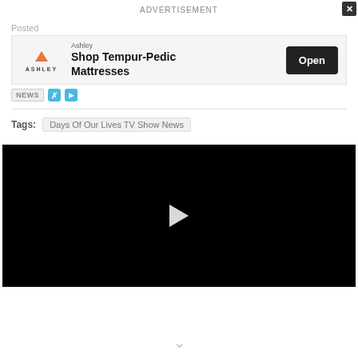ADVERTISEMENT
[Figure (screenshot): Ashley Furniture advertisement banner with logo, 'Shop Tempur-Pedic Mattresses' text, and an 'Open' button.]
Posted
NEWS
Tags:
Days Of Our Lives TV Show News
[Figure (screenshot): Black video player with a white play button triangle in the center.]